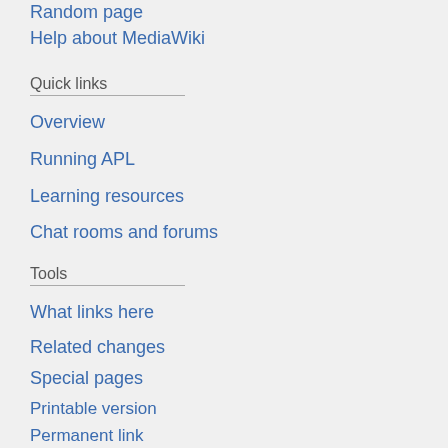Random page
Help about MediaWiki
Quick links
Overview
Running APL
Learning resources
Chat rooms and forums
Tools
What links here
Related changes
Special pages
Printable version
Permanent link
Page information